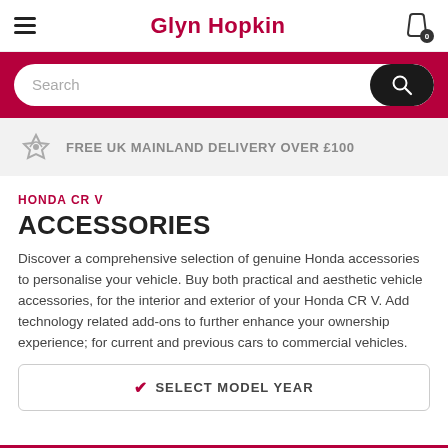Glyn Hopkin
Search
FREE UK MAINLAND DELIVERY OVER £100
HONDA CR V
ACCESSORIES
Discover a comprehensive selection of genuine Honda accessories to personalise your vehicle. Buy both practical and aesthetic vehicle accessories, for the interior and exterior of your Honda CR V. Add technology related add-ons to further enhance your ownership experience; for current and previous cars to commercial vehicles.
✔ SELECT MODEL YEAR